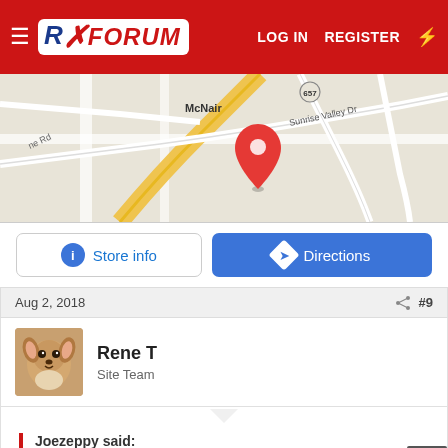RX FORUM — LOG IN  REGISTER
[Figure (map): Google Maps screenshot showing McNair area with red location pin, roads including Sunrise Valley Dr, route 657, and yellow highlighted road]
Store info   Directions
Aug 2, 2018  #9
Rene T
Site Team
Joezeppy said:
Same here. I've never checked to see if they are both 3/4" but the landing gear wrench has a longer shaft on it to reach all the way in past the propane compartment.